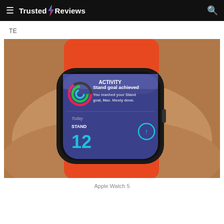Trusted Reviews
TE
[Figure (photo): Close-up photo of an Apple Watch 5 worn on a wrist with an orange band. The watch screen displays an Activity notification reading 'Stand goal achieved – You reached your Stand goal, Max. Nicely done.' with the Activity rings icon and STAND count of 12 shown.]
Apple Watch 5